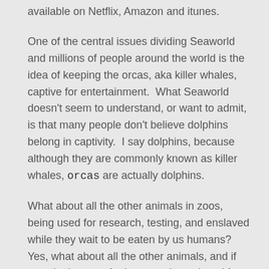available on Netflix, Amazon and itunes.
One of the central issues dividing Seaworld and millions of people around the world is the idea of keeping the orcas, aka killer whales, captive for entertainment.  What Seaworld doesn't seem to understand, or want to admit, is that many people don't believe dolphins belong in captivity.  I say dolphins, because although they are commonly known as killer whales, orcas are actually dolphins.
What about all the other animals in zoos, being used for research, testing, and enslaved while they wait to be eaten by us humans?  Yes, what about all the other animals, and if we take it a step further, people enslaved for sex trafficking?  For the purpose of this blog, I am going to stay focused on dolphins.
Why should dolphins not be kept in captivity?
Research done by scientists for years, such as that done by Dr.